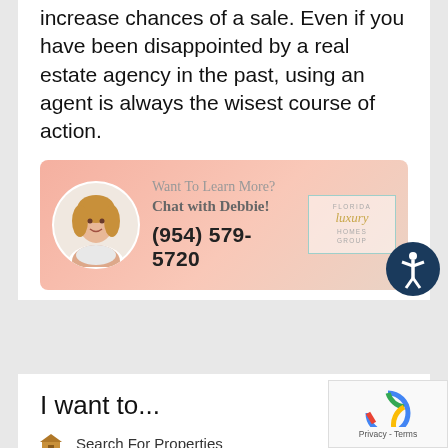increase chances of a sale. Even if you have been disappointed by a real estate agency in the past, using an agent is always the wisest course of action.
[Figure (infographic): Advertisement banner for Florida Luxury Homes Group featuring a photo of Debbie, text 'Want To Learn More? Chat with Debbie!' and phone number (954) 579-5720, with the Florida Luxury Homes Group logo.]
I want to...
Search For Properties
Learn More About Buying